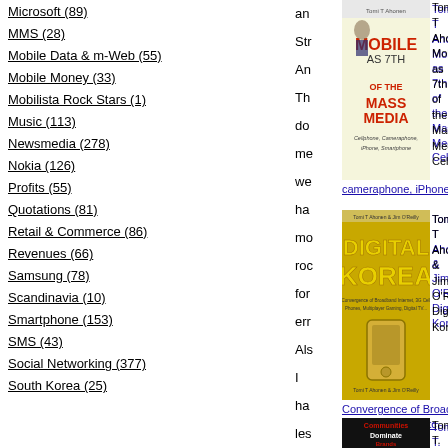Microsoft (89)
MMS (28)
Mobile Data & m-Web (55)
Mobile Money (33)
Mobilista Rock Stars (1)
Music (113)
Newsmedia (278)
Nokia (126)
Profits (55)
Quotations (81)
Retail & Commerce (86)
Revenues (66)
Samsung (78)
Scandinavia (10)
Smartphone (153)
SMS (43)
Social Networking (377)
South Korea (25)
[Figure (photo): Book cover: Tomi T Ahonen Mobile as 7th of the Mass Media: Cellphone, Cameraphone, iPhone, Smartphone]
Tomi T Ahonen: Mobile as 7th of the Mass Media: Cellphone, cameraphone, iPhone, smartphone
[Figure (photo): Book cover: Digital Korea by Tomi T Ahonen & Jim O'Reilly - Convergence of Broadband Internet, 3G Cell Phones etc]
Tomi T Ahonen & Jim O'Reilly: Digital Korea: Convergence of Broadband Internet, 3G Cell Phones etc
[Figure (photo): Book cover: Communities Dominate Brands by Tomi T. Ahonen & Alan Moore]
Tomi T. Ahonen & Alan Moore: